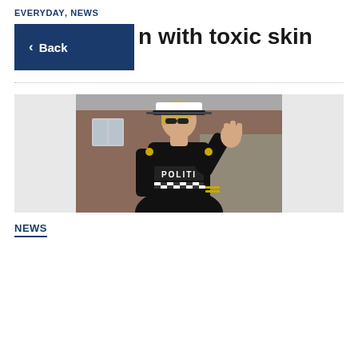EVERYDAY, NEWS
n with toxic skin withdrawn
[Figure (photo): Female Norwegian police officer in black uniform with POLITI text and checkered band, wearing white peaked cap, raising one hand in a stop gesture, photographed outdoors near brick building]
NEWS